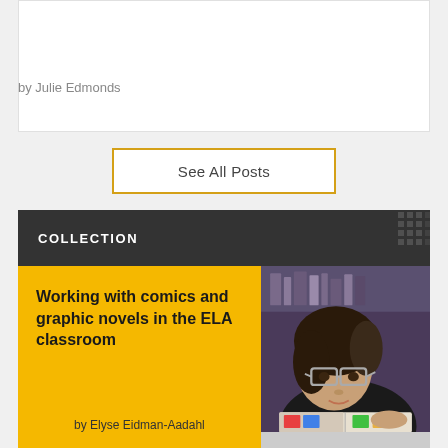by Julie Edmonds
See All Posts
COLLECTION
Working with comics and graphic novels in the ELA classroom
by Elyse Eidman-Aadahl
[Figure (photo): Young woman with glasses and curly hair lying down reading a comic book in a library or classroom setting]